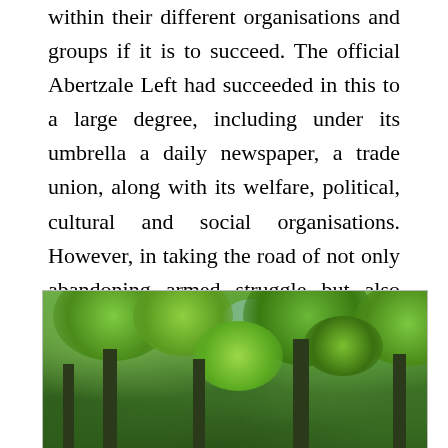within their different organisations and groups if it is to succeed. The official Abertzale Left had succeeded in this to a large degree, including under its umbrella a daily newspaper, a trade union, along with its welfare, political, cultural and social organisations. However, in taking the road of not only abandoning armed struggle but also focusing on the electoral path above all else, the official Abertzale leadership has taken some of its parts down that ruined road, causing confusion and fragmentation around it.
[Figure (photo): Photograph of a dense woodland or forest scene with tall trees and lush green foliage filling the frame, viewed from below.]